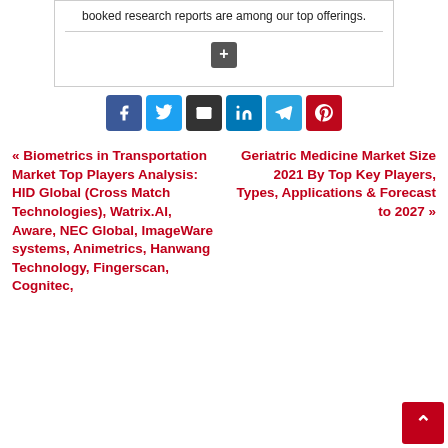booked research reports are among our top offerings.
[Figure (other): Add/plus icon button (white plus on dark grey background)]
[Figure (other): Social share buttons: Facebook (blue), Twitter (light blue), Email (dark grey), LinkedIn (blue), Telegram (light blue), Pinterest (red)]
« Biometrics in Transportation Market Top Players Analysis: HID Global (Cross Match Technologies), Watrix.AI, Aware, NEC Global, ImageWare systems, Animetrics, Hanwang Technology, Fingerscan, Cognitec,
Geriatric Medicine Market Size 2021 By Top Key Players, Types, Applications & Forecast to 2027 »